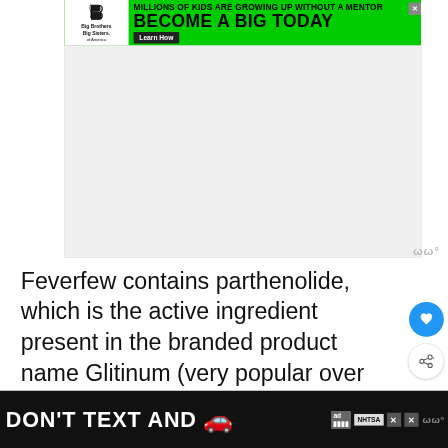[Figure (other): Big Brothers Big Sisters advertisement banner: green background with logo and text 'MILLIONS OF KIDS ARE GROWING UP WITHOUT A MENTOR — BECOME A BIG TODAY' with 'Learn How' button]
[Figure (other): Large blank/gray advertisement area]
Feverfew contains parthenolide, which is the active ingredient present in the branded product name Glitinum (very popular over the counter medications in Nordic countries). Feverfew contains available, which is dried flo...
[Figure (other): Bottom banner ad: DON'T TEXT AND [car emoji] — NHTSA safety campaign advertisement on black background]